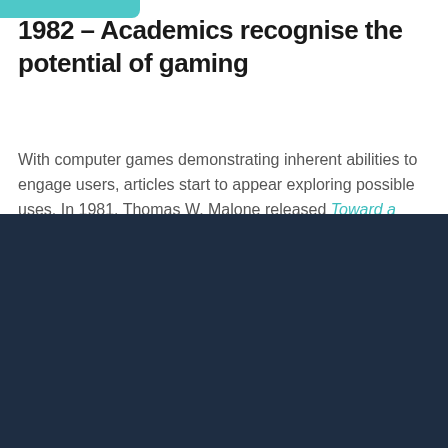1982 – Academics recognise the potential of gaming
With computer games demonstrating inherent abilities to engage users, articles start to appear exploring possible uses. In 1981, Thomas W. Malone released Toward a Theory of Intrinsically Motivating Instruction and his criteria for Designing...
We are always working to improve your experience on our website. Part of this involves using cookies to collect data for statistics and personalization. Further information can be found in our Privacy Policy and Cookies Policy.
ACCEPT
Find out more